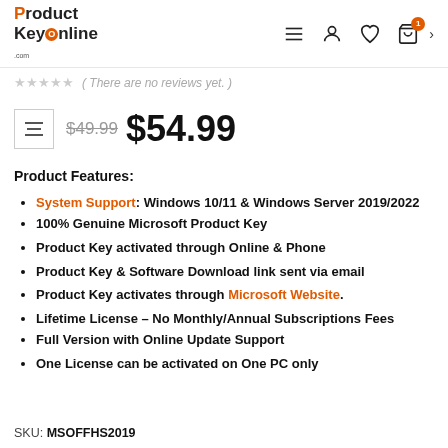ProductKeyOnline.com — navigation header with hamburger menu, user, wishlist, cart icons
( There are no reviews yet. )
$49.99  $54.99
Product Features:
System Support: Windows 10/11 & Windows Server 2019/2022
100% Genuine Microsoft Product Key
Product Key activated through Online & Phone
Product Key & Software Download link sent via email
Product Key activates through Microsoft Website.
Lifetime License – No Monthly/Annual Subscriptions Fees
Full Version with Online Update Support
One License can be activated on One PC only
SKU: MSOFFHS2019